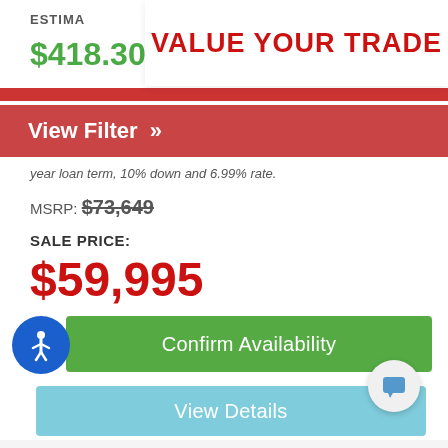ESTIMA
$418.30
VALUE YOUR TRADE
View Filter »
year loan term, 10% down and 6.99% rate.
MSRP: $73,649
SALE PRICE:
$59,995
Confirm Availability
View Details
[Figure (photo): Exterior photo of an RV dealership building with sign reading YOUR BEST PRICE IS HERE GUARANTEED and Ozarka RV Center, cloudy sky background]